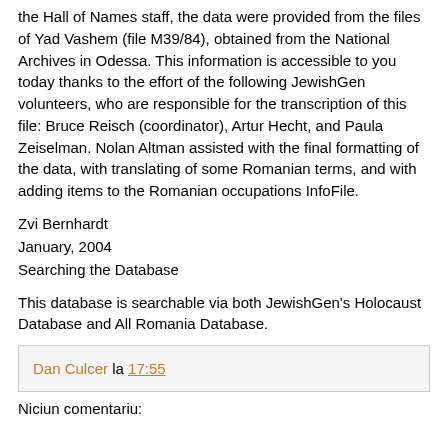the Hall of Names staff, the data were provided from the files of Yad Vashem (file M39/84), obtained from the National Archives in Odessa. This information is accessible to you today thanks to the effort of the following JewishGen volunteers, who are responsible for the transcription of this file: Bruce Reisch (coordinator), Artur Hecht, and Paula Zeiselman. Nolan Altman assisted with the final formatting of the data, with translating of some Romanian terms, and with adding items to the Romanian occupations InfoFile.
Zvi Bernhardt
January, 2004
Searching the Database
This database is searchable via both JewishGen's Holocaust Database and All Romania Database.
Dan Culcer la 17:55
Niciun comentariu: